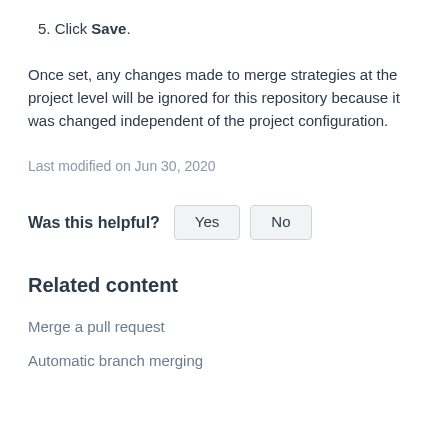5. Click Save.
Once set, any changes made to merge strategies at the project level will be ignored for this repository because it was changed independent of the project configuration.
Last modified on Jun 30, 2020
Was this helpful? Yes No
Related content
Merge a pull request
Automatic branch merging